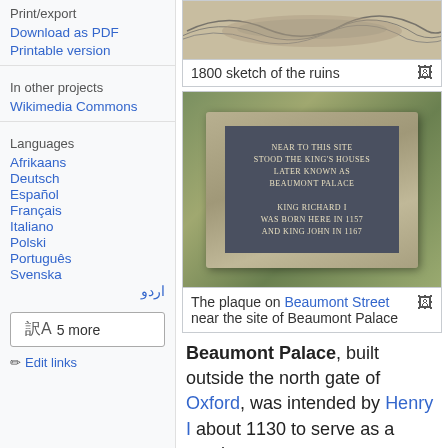Print/export
Download as PDF
Printable version
In other projects
Wikimedia Commons
Languages
Afrikaans
Deutsch
Español
Français
Italiano
Polski
Português
Svenska
اردو
5 more
Edit links
[Figure (illustration): 1800 sketch of the ruins of Beaumont Palace]
1800 sketch of the ruins
[Figure (photo): A stone plaque on Beaumont Street near the site of Beaumont Palace. The plaque reads: NEAR TO THIS SITE STOOD THE KING'S HOUSES LATER KNOWN AS BEAUMONT PALACE. KING RICHARD I WAS BORN HERE IN 1157 AND KING JOHN IN 1167]
The plaque on Beaumont Street near the site of Beaumont Palace
Beaumont Palace, built outside the north gate of Oxford, was intended by Henry I about 1130 to serve as a royal